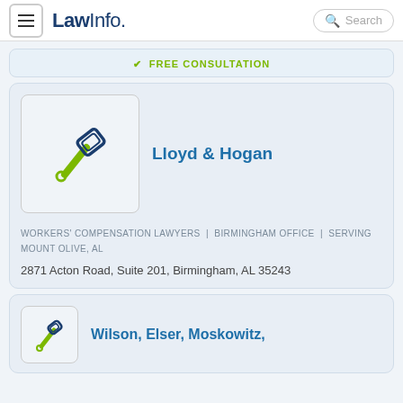LawInfo. Search
✓ FREE CONSULTATION
[Figure (logo): Gavel/hammer icon in navy and green, representing a law firm logo placeholder]
Lloyd & Hogan
WORKERS' COMPENSATION LAWYERS  |  BIRMINGHAM OFFICE  |  SERVING MOUNT OLIVE, AL
2871 Acton Road, Suite 201, Birmingham, AL 35243
[Figure (logo): Partial gavel/hammer icon in navy and green for second listing]
Wilson, Elser, Moskowitz,